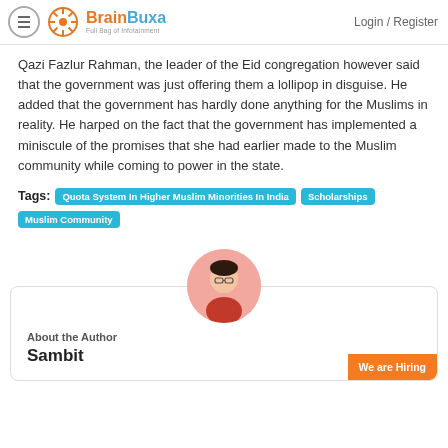BrainBuxa - Full Bag of Infotainment | Login / Register
Qazi Fazlur Rahman, the leader of the Eid congregation however said that the government was just offering them a lollipop in disguise. He added that the government has hardly done anything for the Muslims in reality. He harped on the fact that the government has implemented a miniscule of the promises that she had earlier made to the Muslim community while coming to power in the state.
Tags: Quota System In Higher Muslim Minorities In India | Scholarships | Muslim Community
About the Author
Sambit